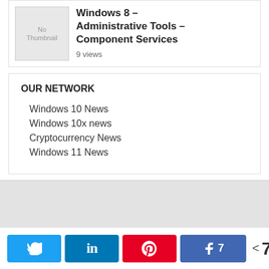[Figure (other): Article thumbnail placeholder showing 'No Thumbnail' and article title 'Windows 8 – Administrative Tools – Component Services' with 9 views]
OUR NETWORK
Windows 10 News
Windows 10x news
Cryptocurrency News
Windows 11 News
The Redmond Cloud Copyright © 2022. All rights reserved. About Us  Privacy Policy  Terms of Service  DMCA Policy  Newsletter  Advertise  Contact Us
[Figure (other): Social share bar with Twitter, LinkedIn, Pinterest, Facebook buttons and share count of 7 SHARES]